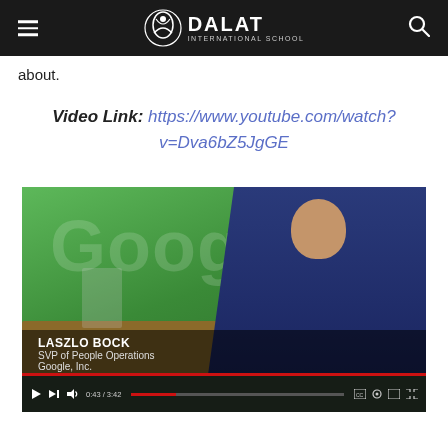Dalat International School
about.
Video Link: https://www.youtube.com/watch?v=Dva6bZ5JgGE
[Figure (screenshot): YouTube video screenshot showing Laszlo Bock, SVP of People Operations at Google, Inc., speaking in front of a Google logo in a green office environment. Video progress shows 0:43 / 3:42.]